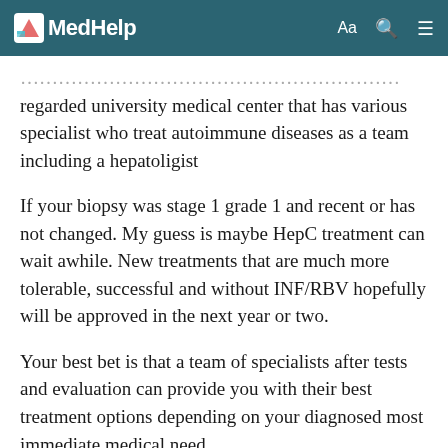MedHelp
...regarded university medical center that has various specialist who treat autoimmune diseases as a team including a hepatoligist
If your biopsy was stage 1 grade 1 and recent or has not changed. My guess is maybe HepC treatment can wait awhile. New treatments that are much more tolerable, successful and without INF/RBV hopefully will be approved in the next year or two.
Your best bet is that a team of specialists after tests and evaluation can provide you with their best treatment options depending on your diagnosed most immediate medical need.